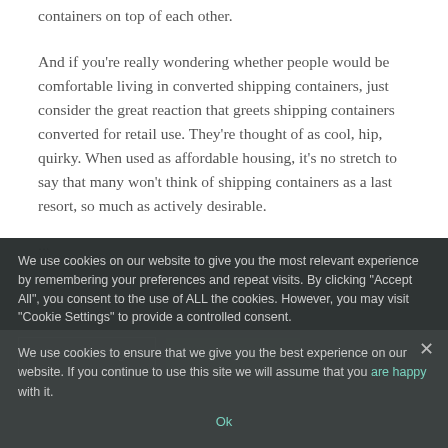containers on top of each other.
And if you're really wondering whether people would be comfortable living in converted shipping containers, just consider the great reaction that greets shipping containers converted for retail use. They're thought of as cool, hip, quirky. When used as affordable housing, it's no stretch to say that many won't think of shipping containers as a last resort, so much as actively desirable.
...
We use cookies on our website to give you the most relevant experience by remembering your preferences and repeat visits. By clicking "Accept All", you consent to the use of ALL the cookies. However, you may visit "Cookie Settings" to provide a controlled consent.
We use cookies to ensure that we give you the best experience on our website. If you continue to use this site we will assume that you are happy with it.
Cookie Settings
Accept All
Ok